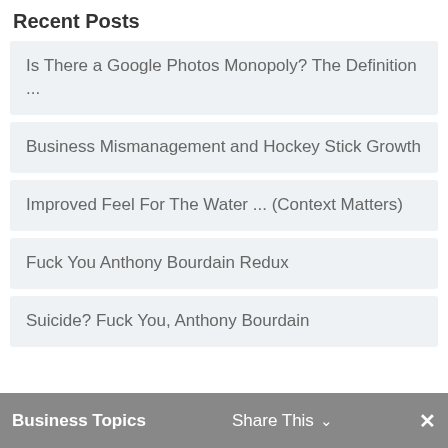Recent Posts
Is There a Google Photos Monopoly? The Definition ...
Business Mismanagement and Hockey Stick Growth
Improved Feel For The Water ... (Context Matters)
Fuck You Anthony Bourdain Redux
Suicide? Fuck You, Anthony Bourdain
Business Topics   Share This ∨   ✕